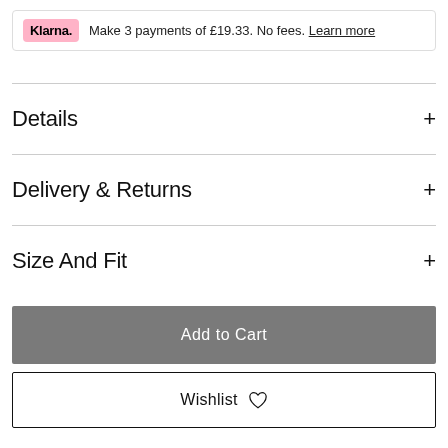Klarna. Make 3 payments of £19.33. No fees. Learn more
Details
Delivery & Returns
Size And Fit
Add to Cart
Wishlist